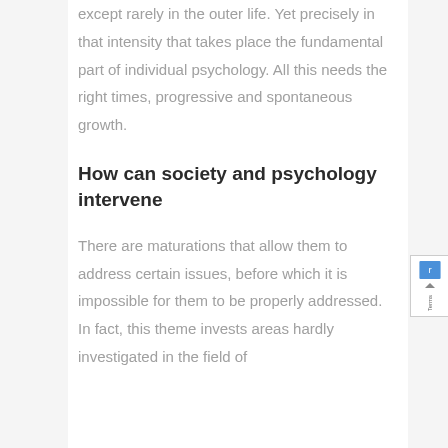except rarely in the outer life. Yet precisely in that intensity that takes place the fundamental part of individual psychology. All this needs the right times, progressive and spontaneous growth.
How can society and psychology intervene
There are maturations that allow them to address certain issues, before which it is impossible for them to be properly addressed. In fact, this theme invests areas hardly investigated in the field of